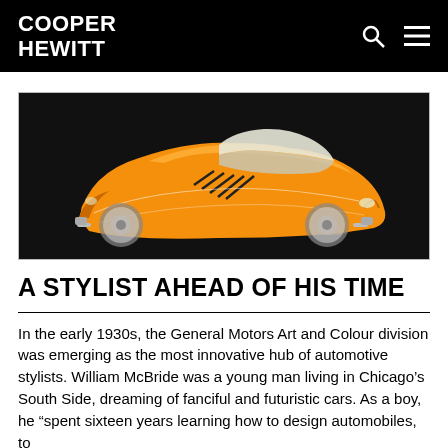COOPER HEWITT
[Figure (illustration): Illustration of a stylized orange Art Deco concept car with streamlined body, chrome accents, and speed lines, set against a black background.]
A STYLIST AHEAD OF HIS TIME
In the early 1930s, the General Motors Art and Colour division was emerging as the most innovative hub of automotive stylists. William McBride was a young man living in Chicago's South Side, dreaming of fanciful and futuristic cars. As a boy, he "spent sixteen years learning how to design automobiles, to